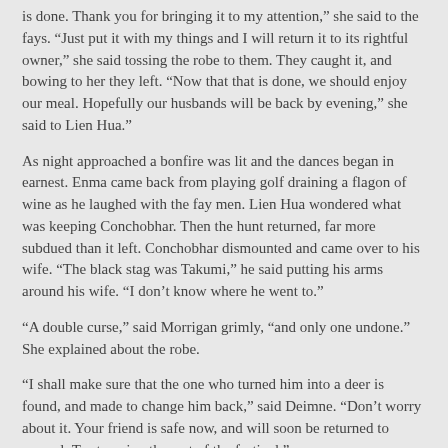is done. Thank you for bringing it to my attention,” she said to the fays. “Just put it with my things and I will return it to its rightful owner,” she said tossing the robe to them. They caught it, and bowing to her they left. “Now that that is done, we should enjoy our meal. Hopefully our husbands will be back by evening,” she said to Lien Hua.”
As night approached a bonfire was lit and the dances began in earnest. Enma came back from playing golf draining a flagon of wine as he laughed with the fay men. Lien Hua wondered what was keeping Conchobhar. Then the hunt returned, far more subdued than it left. Conchobhar dismounted and came over to his wife. “The black stag was Takumi,” he said putting his arms around his wife. “I don’t know where he went to.”
“A double curse,” said Morrigan grimly, “and only one undone.” She explained about the robe.
“I shall make sure that the one who turned him into a deer is found, and made to change him back,” said Deimne. “Don’t worry about it. Your friend is safe now, and will soon be returned to normal. Try to enjoy the rest of the festival.”
Lien Hua joined Conchobhar in the dance, but his heart wasn’t really in it, so she found other ways to comfort him.